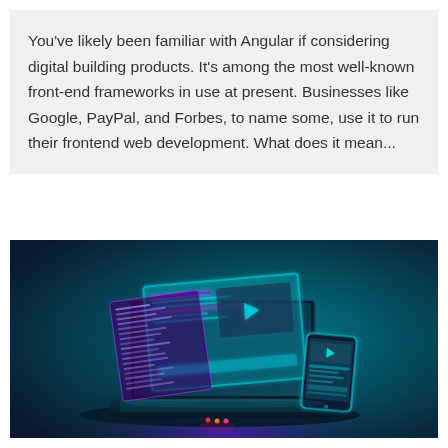You've likely been familiar with Angular if considering digital building products. It's among the most well-known front-end frameworks in use at present. Businesses like Google, PayPal, and Forbes, to name some, use it to run their frontend web development. What does it mean...
[Figure (illustration): Digital illustration of a futuristic laptop with holographic screens displaying code editors, media players, and UI panels floating in front of it, along with a smartphone, set against a dark teal/blue background with glowing cyan and purple light effects.]